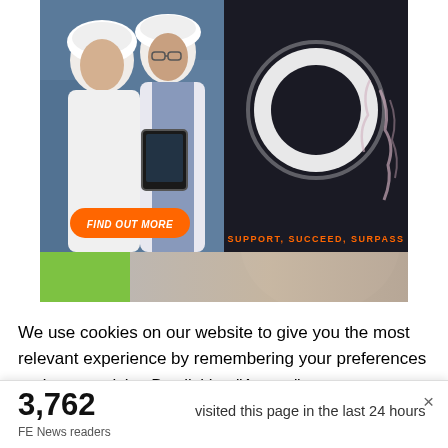[Figure (photo): Advertisement banner split into two halves. Left half shows two people in white lab coats and hair nets looking at a tablet, with an orange 'FIND OUT MORE' button. Right half shows a ring light on dark background with hand/smoke imagery and orange text 'SUPPORT, SUCCEED, SURPASS'.]
[Figure (photo): Partial second advertisement banner showing a green rectangle on the left and a partial face/portrait on the right.]
We use cookies on our website to give you the most relevant experience by remembering your preferences and repeat visits. By clicking “Accept”, you consent to the use of ALL the cookies. However you may visit Cookie
3,762
FE News readers
visited this page in the last 24 hours